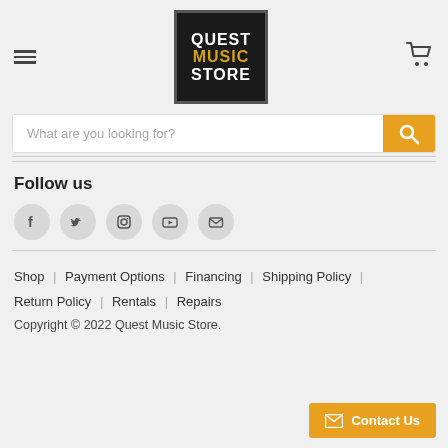[Figure (logo): Quest Music Store logo — black square with white border, text QUEST (white), MUSIC (gold), STORE (white)]
What are you looking for?
Follow us
[Figure (infographic): Social media icons: Facebook, Twitter, Instagram, YouTube, Email — gray circles]
Shop | Payment Options | Financing | Shipping Policy | Return Policy | Rentals | Repairs
Copyright © 2022 Quest Music Store.
Contact Us